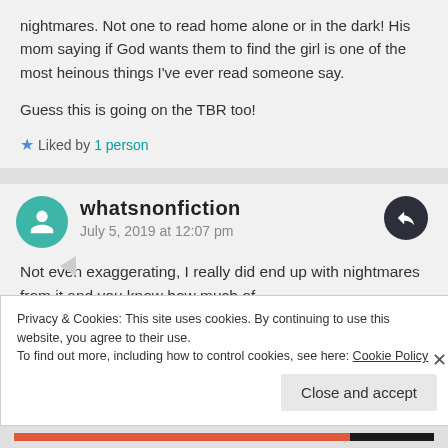nightmares. Not one to read home alone or in the dark! His mom saying if God wants them to find the girl is one of the most heinous things I've ever read someone say.

Guess this is going on the TBR too!
Liked by 1 person
whatsnonfiction
July 5, 2019 at 12:07 pm
Not even exaggerating, I really did end up with nightmares from it and you know how much of
Privacy & Cookies: This site uses cookies. By continuing to use this website, you agree to their use.
To find out more, including how to control cookies, see here: Cookie Policy
Close and accept